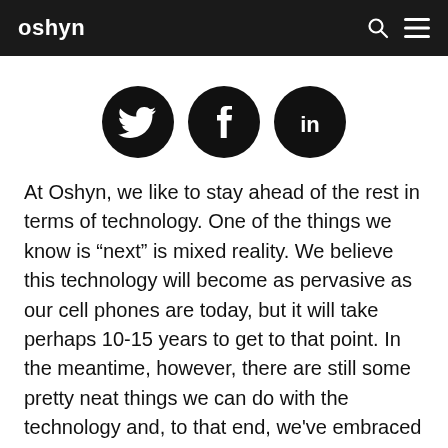oshyn
[Figure (illustration): Three social media icons in black circles: Twitter (bird), Facebook (f), LinkedIn (in)]
At Oshyn, we like to stay ahead of the rest in terms of technology. One of the things we know is “next” is mixed reality. We believe this technology will become as pervasive as our cell phones are today, but it will take perhaps 10-15 years to get to that point. In the meantime, however, there are still some pretty neat things we can do with the technology and, to that end, we’ve embraced